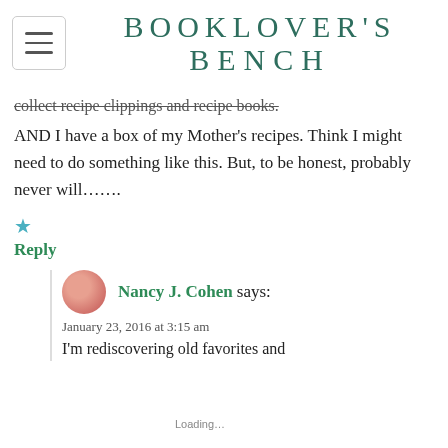BOOKLOVER'S BENCH
collect recipe clippings and recipe books. AND I have a box of my Mother's recipes. Think I might need to do something like this. But, to be honest, probably never will…….
★
Reply
Nancy J. Cohen says:
January 23, 2016 at 3:15 am
I'm rediscovering old favorites and